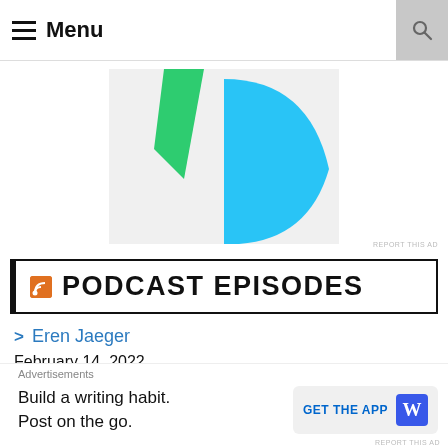≡ Menu
[Figure (illustration): Podcast logo with green and blue abstract shapes on light gray background]
PODCAST EPISODES
Eren Jaeger
February 14, 2022
EREN!! JAEGERRRRRRRRR!! In this episode, we're discussing
Advertisements
Build a writing habit.
Post on the go.
GET THE APP